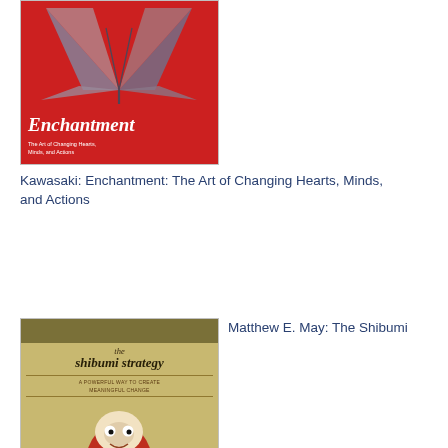[Figure (photo): Book cover of Enchantment by Guy Kawasaki — red background with origami butterfly]
Kawasaki: Enchantment: The Art of Changing Hearts, Minds, and Actions
[Figure (photo): Book cover of The Shibumi Strategy by Matthew E. May — tan/gold background with daruma doll]
Matthew E. May: The Shibumi Strategy: A Powerful Way to Create Meaningful Change
[Figure (photo): Book cover of Too Big to Fail by Andrew Ross Sorkin — red cover with large bold text]
Andrew Ross Sorkin: